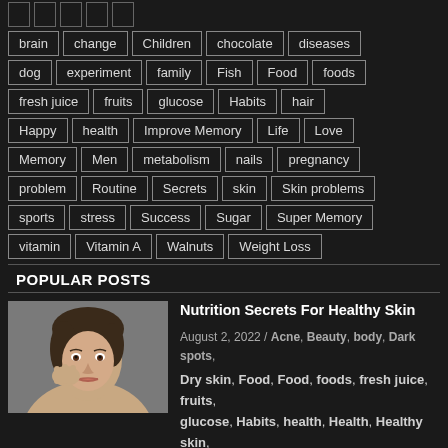brain, change, Children, chocolate, diseases
dog, experiment, family, Fish, Food, foods
fresh juice, fruits, glucose, Habits, hair
Happy, health, Improve Memory, Life, Love
Memory, Men, metabolism, nails, pregnancy
problem, Routine, Secrets, skin, Skin problems
sports, stress, Success, Sugar, Super Memory
vitamin, Vitamin A, Walnuts, Weight Loss
POPULAR POSTS
[Figure (photo): Woman with healthy skin touching her face]
Nutrition Secrets For Healthy Skin
August 2, 2022 / Acne, Beauty, body, Dark spots, Dry skin, Food, Food, foods, fresh juice, fruits, glucose, Habits, health, Health, Healthy skin, Life, Nutrients, Nuts, Oily skin, Popular Posts, skin, Skin problems, Sugar, Vegetables,